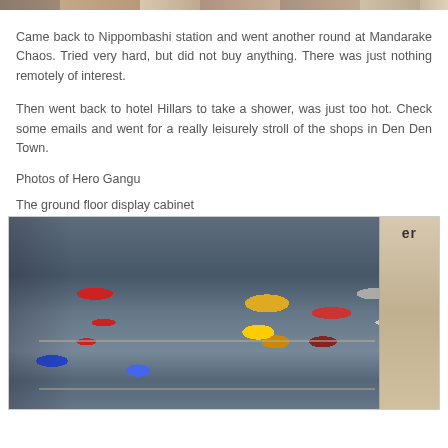[Figure (photo): Partial top strip of a photo visible at top of page]
Came back to Nippombashi station and went another round at Mandarake Chaos. Tried very hard, but did not buy anything. There was just nothing remotely of interest.
Then went back to hotel Hillars to take a shower, was just too hot. Check some emails and went for a really leisurely stroll of the shops in Den Den Town.
Photos of Hero Gangu
The ground floor display cabinet
[Figure (photo): A display cabinet at Hero Gangu shop showing various action figures and robot toys on shelves, with colorful figures including red, yellow, and blue robots and figures.]